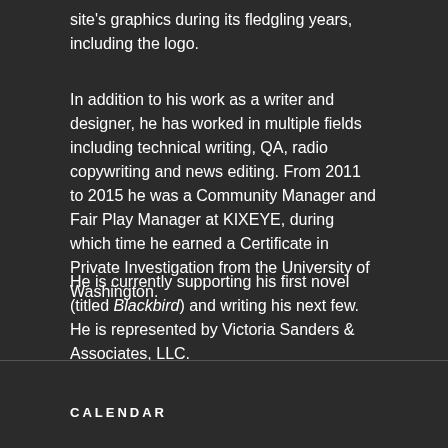site's graphics during its fledgling years, including the logo.
In addition to his work as a writer and designer, he has worked in multiple fields including technical writing, QA, radio copywriting and news editing. From 2011 to 2015 he was a Community Manager and Fair Play Manager at KIXEYE, during which time he earned a Certificate in Private Investigation from the University of Washington.
He is currently supporting his first novel (titled Blackbird) and writing his next few. He is represented by Victoria Sanders & Associates, LLC.
CALENDAR